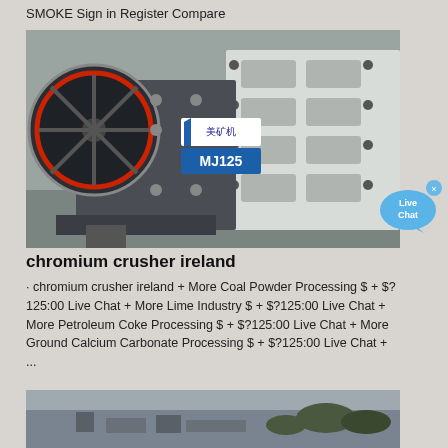SMOKE Sign in Register Compare
[Figure (photo): Close-up photograph of an industrial jaw crusher machine labeled MJ125 with Chinese text branding, showing large flywheel and toggle plates in a warehouse setting]
[Figure (other): Live Chat bubble icon in blue]
chromium crusher ireland
· chromium crusher ireland + More Coal Powder Processing $ + $?125:00 Live Chat + More Lime Industry $ + $?125:00 Live Chat + More Petroleum Coke Processing $ + $?125:00 Live Chat + More Ground Calcium Carbonate Processing $ + $?125:00 Live Chat + ...
[Figure (photo): Partial photograph of an outdoor industrial or quarry site with structures and trees visible against a grey sky]